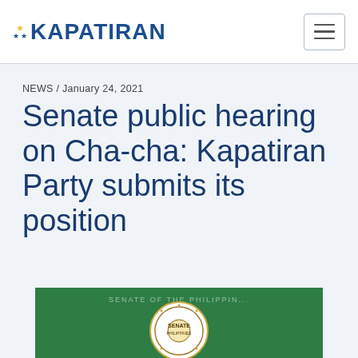KAPATIRAN
NEWS / January 24, 2021
Senate public hearing on Cha-cha: Kapatiran Party submits its position
[Figure (photo): Green backdrop with Senate of the Philippines official seal/logo visible]